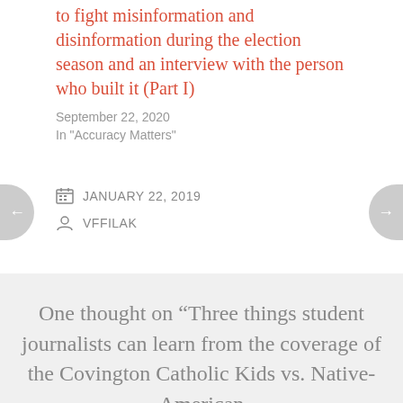to fight misinformation and disinformation during the election season and an interview with the person who built it (Part I)
September 22, 2020
In "Accuracy Matters"
JANUARY 22, 2019
VFFILAK
One thought on “Three things student journalists can learn from the coverage of the Covington Catholic Kids vs. Native-American